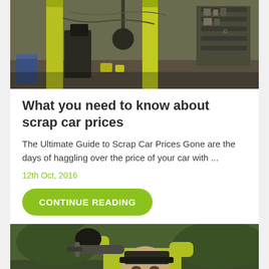[Figure (photo): Scrapyard workshop interior with yellow wooden posts, machinery, and equipment on shelves]
What you need to know about scrap car prices
The Ultimate Guide to Scrap Car Prices Gone are the days of haggling over the price of your car with ...
12th Oct, 2016
CONTINUE READING
[Figure (photo): Person in high-visibility jacket working underneath a vehicle, mechanic with gloves]